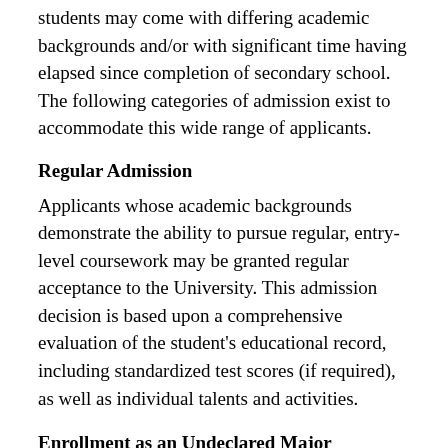students may come with differing academic backgrounds and/or with significant time having elapsed since completion of secondary school. The following categories of admission exist to accommodate this wide range of applicants.
Regular Admission
Applicants whose academic backgrounds demonstrate the ability to pursue regular, entry-level coursework may be granted regular acceptance to the University. This admission decision is based upon a comprehensive evaluation of the student's educational record, including standardized test scores (if required), as well as individual talents and activities.
Enrollment as an Undeclared Major
Applicants who are undecided regarding their